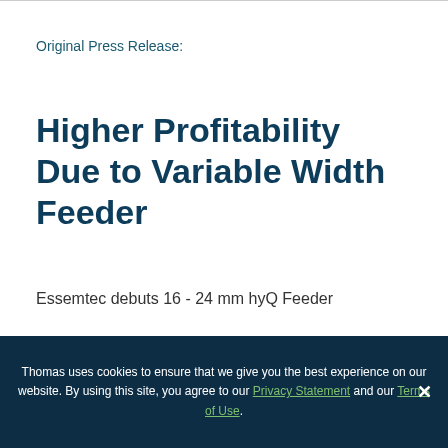Original Press Release:
Higher Profitability Due to Variable Width Feeder
Essemtec debuts 16 - 24 mm hyQ Feeder
Thomas uses cookies to ensure that we give you the best experience on our website. By using this site, you agree to our Privacy Statement and our Terms of Use.